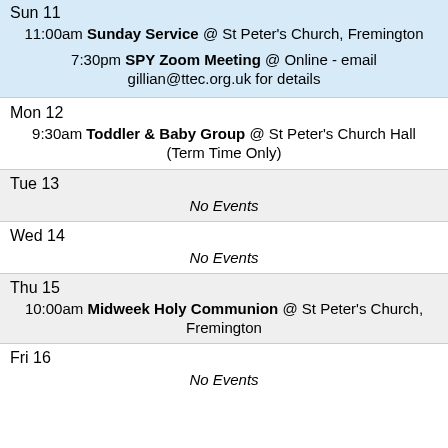Sun 11
11:00am Sunday Service @ St Peter's Church, Fremington
7:30pm SPY Zoom Meeting @ Online - email gillian@ttec.org.uk for details
Mon 12
9:30am Toddler & Baby Group @ St Peter's Church Hall (Term Time Only)
Tue 13
No Events
Wed 14
No Events
Thu 15
10:00am Midweek Holy Communion @ St Peter's Church, Fremington
Fri 16
No Events